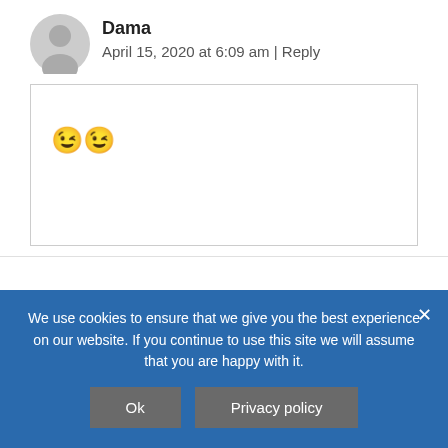Dama
April 15, 2020 at 6:09 am | Reply
😉😉
Nico
January 21, 2019 at 11:28 pm | Reply
We use cookies to ensure that we give you the best experience on our website. If you continue to use this site we will assume that you are happy with it.
Ok
Privacy policy